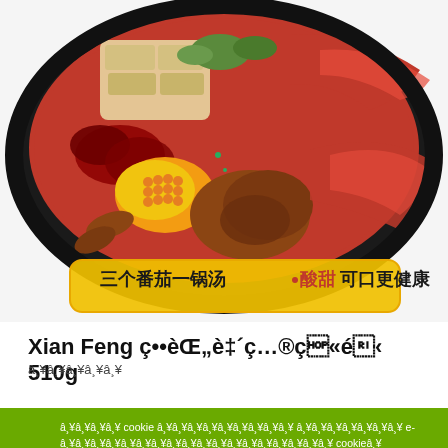[Figure (photo): Product photo of a hotpot meal kit in a black tray, showing vegetables, corn, meat, mushrooms in a red tomato broth. Chinese text on packaging reads: 三个番茄一锅汤。酸甜可口更健康]
Xian Feng 番茄自煮火锅 510g
สินค้าจีน
เราใช้ cookie เพื่อประสบการณ์ที่ดีในการใช้งาน e-commerce ของเรา โดยการใช้งาน cookie ดู นโยบาย
ยอมรับ COOKIE